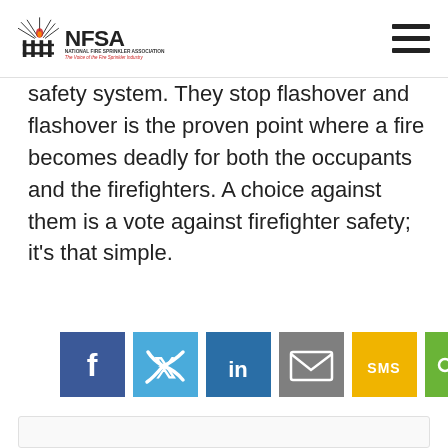NFSA - National Fire Sprinkler Association – The Voice of the Fire Sprinkler Industry
safety system. They stop flashover and flashover is the proven point where a fire becomes deadly for both the occupants and the firefighters. A choice against them is a vote against firefighter safety; it's that simple.
[Figure (infographic): Social share buttons: Facebook (dark blue), Twitter (light blue), LinkedIn (dark blue), Email (gray), SMS (yellow/gold), Share (green)]